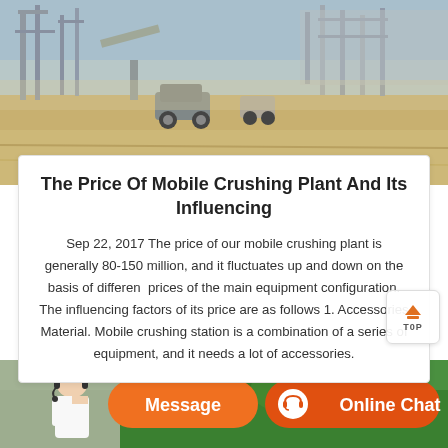[Figure (photo): Industrial mobile crushing plant site with construction equipment, vehicles, and sandy ground under a hazy sky.]
The Price Of Mobile Crushing Plant And Its Influencing
Sep 22, 2017 The price of our mobile crushing plant is generally 80-150 million, and it fluctuates up and down on the basis of different prices of the main equipment configuration. The influencing factors of its price are as follows 1. Accessories Material. Mobile crushing station is a combination of a series of equipment, and it needs a lot of accessories.
[Figure (photo): Bottom banner with customer service representative photo, orange Message button, and orange Online Chat button with headset icon.]